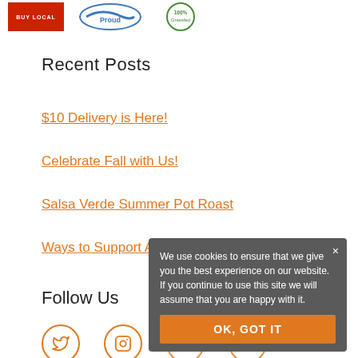[Figure (logo): Three logos: Buy Local (red badge), Proud (blue swoosh), Grassfed (green circle)]
Recent Posts
$10 Delivery is Here!
Celebrate Fall with Us!
Salsa Verde Summer Pot Roast
Ways to Support Appalachia
Follow Us
[Figure (other): Social media icons: Twitter, Instagram, and others (circular orange border icons)]
We use cookies to ensure that we give you the best experience on our website. If you continue to use this site we will assume that you are happy with it.
OK, GOT IT